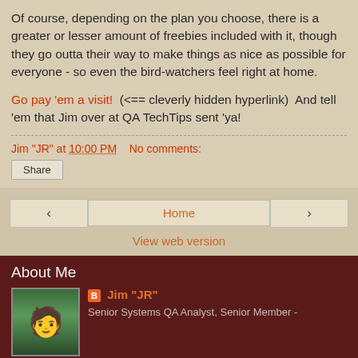Of course, depending on the plan you choose, there is a greater or lesser amount of freebies included with it, though they go outta their way to make things as nice as possible for everyone - so even the bird-watchers feel right at home.
Go pay 'em a visit!  (<== cleverly hidden hyperlink)  And tell 'em that Jim over at QA TechTips sent 'ya!
Jim "JR" at 10:00 PM   No comments:
Share
< Home >
View web version
About Me
Jim "JR"
Senior Systems QA Analyst, Senior Member -